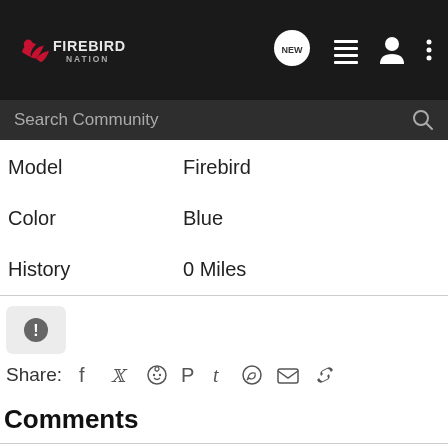Firebird Nation
| Field | Value |
| --- | --- |
| Model | Firebird |
| Color | Blue |
| History | 0 Miles |
[Figure (infographic): Warning/info icon button in a light gray rounded rectangle]
Share: [Facebook] [Twitter] [Reddit] [Pinterest] [Tumblr] [WhatsApp] [Email] [Link]
Comments
There are no comments to display.